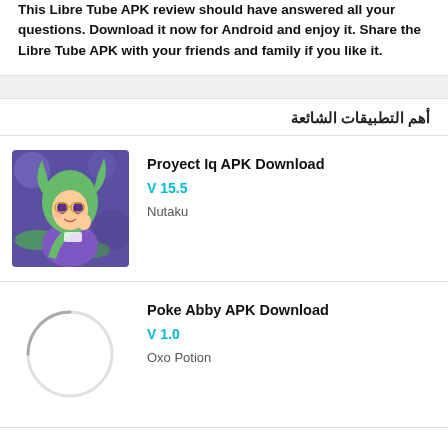This Libre Tube APK review should have answered all your questions. Download it now for Android and enjoy it. Share the Libre Tube APK with your friends and family if you like it.
أهم التطبيقات الشائعة
[Figure (illustration): Anime character with green hair and glasses in purple outfit]
Proyect Iq APK Download
V 15.5
Nutaku
[Figure (illustration): Loading spinner / circular loading icon placeholder]
Poke Abby APK Download
V 1.0
Oxo Potion